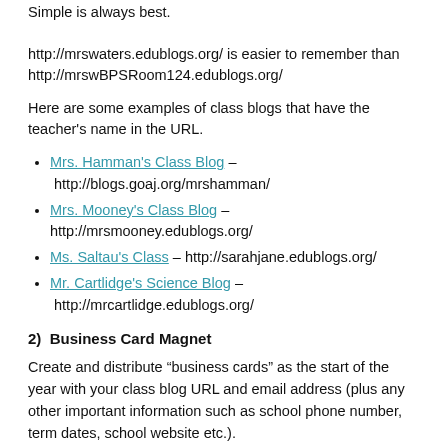Simple is always best.
http://mrswaters.edublogs.org/ is easier to remember than http://mrswBPSRoom124.edublogs.org/
Here are some examples of class blogs that have the teacher's name in the URL.
Mrs. Hamman's Class Blog – http://blogs.goaj.org/mrshamman/
Mrs. Mooney's Class Blog – http://mrsmooney.edublogs.org/
Ms. Saltau's Class – http://sarahjane.edublogs.org/
Mr. Cartlidge's Science Blog – http://mrcartlidge.edublogs.org/
2)  Business Card Magnet
Create and distribute “business cards” as the start of the year with your class blog URL and email address (plus any other important information such as school phone number, term dates, school website etc.).